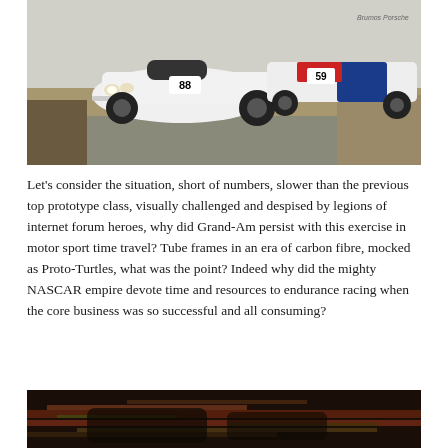[Figure (photo): Two white prototype racing cars on track, car #88 in foreground and car #59 with red/blue livery behind, on a racing circuit with brown grass/gravel on the sides]
Let's consider the situation, short of numbers, slower than the previous top prototype class, visually challenged and despised by legions of internet forum heroes, why did Grand-Am persist with this exercise in motor sport time travel? Tube frames in an era of carbon fibre, mocked as Proto-Turtles, what was the point? Indeed why did the mighty NASCAR empire devote time and resources to endurance racing when the core business was so successful and all consuming?
[Figure (photo): Blurred motion photograph of racing cars on track at night or low light, with colorful blurred streaks, copyright John Brooks 2003]